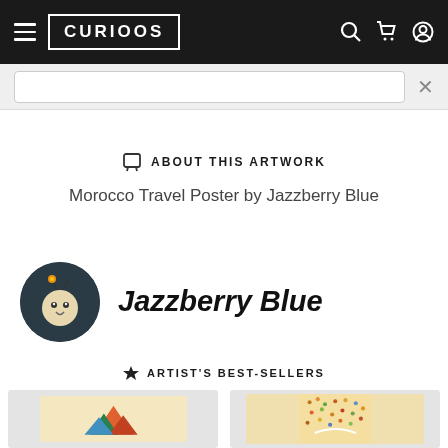CURIOOS navigation bar with hamburger menu, logo, search, cart, and account icons
[Figure (screenshot): Search bar strip with text input]
ABOUT THIS ARTWORK
Morocco Travel Poster by Jazzberry Blue
[Figure (illustration): Jazzberry Blue artist avatar — circular dark teal icon with a cartoon bee/bug character wearing a flower]
Jazzberry Blue
ARTIST'S BEST-SELLERS
[Figure (illustration): Two product thumbnail images: left shows a mountain/landscape colorful print, right shows a colorful map-style print]